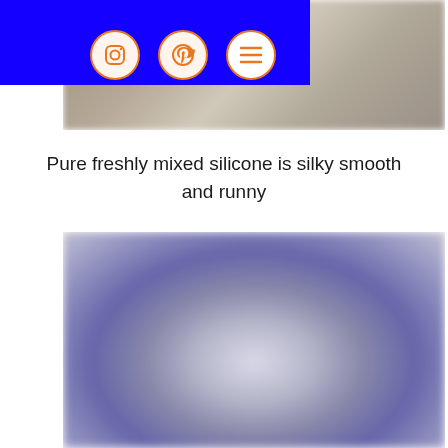[Figure (photo): Blurred photo of freshly mixed silicone in a bowl, top portion visible]
[Figure (screenshot): Blue navigation bar with social media icons: Instagram, Pinterest, and hamburger menu in orange circles]
Pure freshly mixed silicone is silky smooth and runny
[Figure (photo): Blurred photo of silicone mixture in a bowl, showing a swirled pale blue/purple texture]